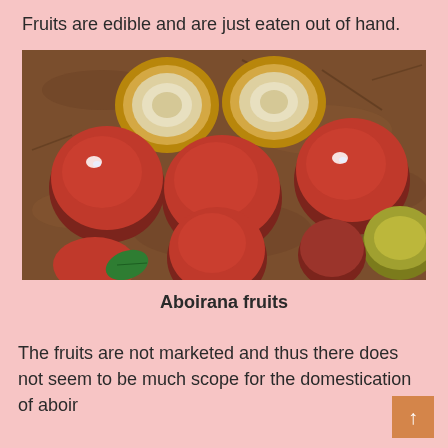Fruits are edible and are just eaten out of hand.
[Figure (photo): Photograph of Aboirana fruits arranged on soil/dirt ground. Several round reddish-brown fruits are visible, along with two halved fruits showing white interior flesh. Some fruits have a small white spot on top.]
Aboirana fruits
The fruits are not marketed and thus there does not seem to be much scope for the domestication of aboir